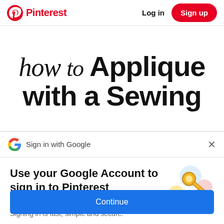Pinterest  Log in  Sign up
[Figure (illustration): Decorative text image reading 'how to Applique with a Sewing' in mixed handwritten and bold sans-serif fonts on white background]
Sign in with Google
Use your Google Account to sign in to Pinterest
No more passwords to remember. Signing in is fast, simple and secure.
[Figure (illustration): Google key illustration with colorful circles and a golden key]
Continue